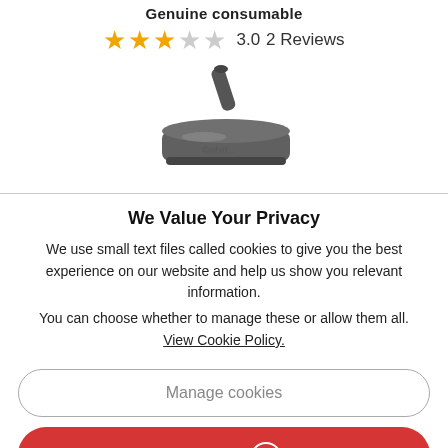Genuine consumable
3.0  2 Reviews
[Figure (photo): Product image of a vacuum cleaner floor brush/nozzle attachment, dark grey/silver colored]
We Value Your Privacy
We use small text files called cookies to give you the best experience on our website and help us show you relevant information.
You can choose whether to manage these or allow them all.
View Cookie Policy.
Manage cookies
Allow all